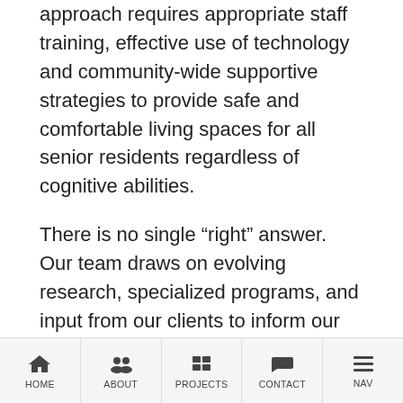approach requires appropriate staff training, effective use of technology and community-wide supportive strategies to provide safe and comfortable living spaces for all senior residents regardless of cognitive abilities.
There is no single “right” answer. Our team draws on evolving research, specialized programs, and input from our clients to inform our approach to support the needs of people with dementia through interior design. For example, intentionally designed spaces for programs such as Montessori or Opening Minds through Art (OMA), function as a silent
HOME | ABOUT | PROJECTS | CONTACT | NAV